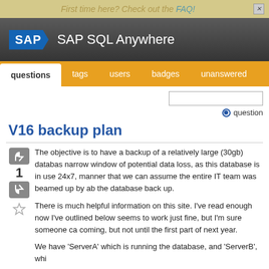First time here? Check out the FAQ!
[Figure (logo): SAP logo with blue pentagon shape and white text]
SAP SQL Anywhere
questions | tags | users | badges | unanswered
V16 backup plan
The objective is to have a backup of a relatively large (30gb) database, narrow window of potential data loss, as this database is in use 24x7, manner that we can assume the entire IT team was beamed up by ab the database back up.
There is much helpful information on this site. I've read enough now I've outlined below seems to work just fine, but I'm sure someone ca coming, but not until the first part of next year.
We have 'ServerA' which is running the database, and 'ServerB', whi